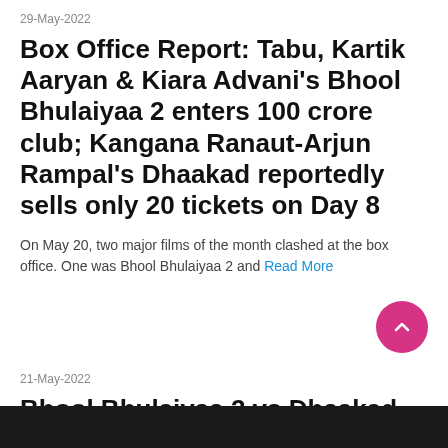29-May-2022
Box Office Report: Tabu, Kartik Aaryan & Kiara Advani's Bhool Bhulaiyaa 2 enters 100 crore club; Kangana Ranaut-Arjun Rampal's Dhaakad reportedly sells only 20 tickets on Day 8
On May 20, two major films of the month clashed at the box office. One was Bhool Bhulaiyaa 2 and Read More
21-May-2022
Bhool Bhulaiyaa 2 vs Dhaakad Box Office collection Day 1: Kartik Aaryan and Kiara...